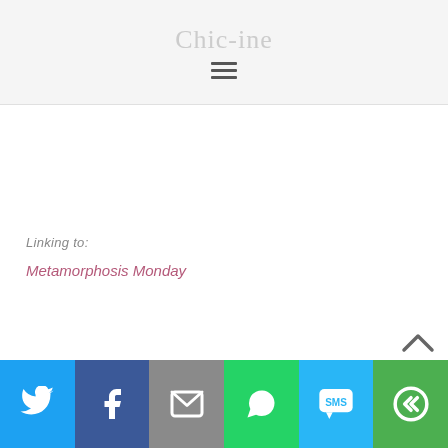Chic-ine
Linking to:
Metamorphosis Monday
[Figure (infographic): Social sharing bar with icons for Twitter, Facebook, Email, WhatsApp, SMS, and More options]